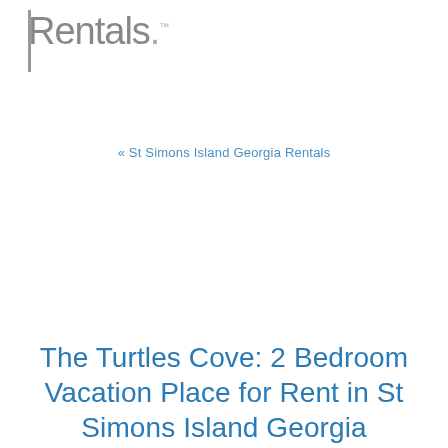Rentals.
« St Simons Island Georgia Rentals
The Turtles Cove: 2 Bedroom Vacation Place for Rent in St Simons Island Georgia